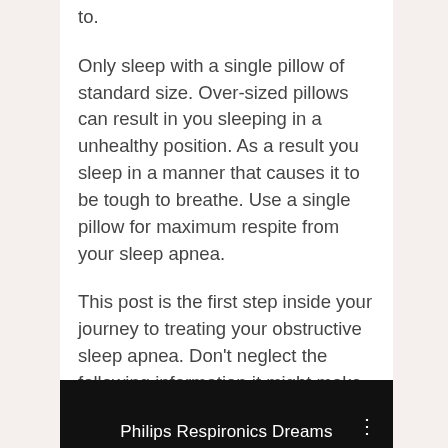to.
Only sleep with a single pillow of standard size. Over-sized pillows can result in you sleeping in a unhealthy position. As a result you sleep in a manner that causes it to be tough to breathe. Use a single pillow for maximum respite from your sleep apnea.
This post is the first step inside your journey to treating your obstructive sleep apnea. Don't neglect the following information it might make positive changes to life for your better. Now, you have to have more knowledge on tips to get a good evening of rest initially for a while..
[Figure (screenshot): Black video bar at the bottom with white text reading 'Philips Respironics Dreams' and three dots icon on the right]